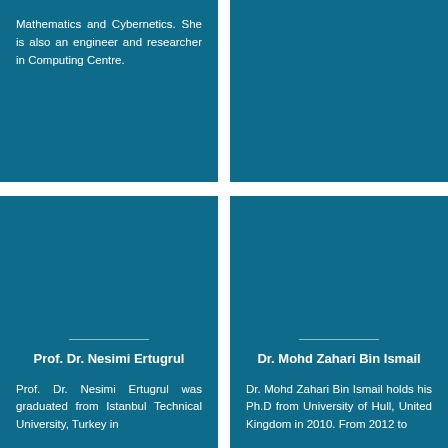Mathematics and Cybernetics. She is also an engineer and researcher in Computing Centre.
Prof. Dr. Nesimi Ertugrul
Prof. Dr. Nesimi Ertugrul was graduated from Istanbul Technical University, Turkey in
Dr. Mohd Zahari Bin Ismail
Dr. Mohd Zahari Bin Ismail holds his Ph.D from University of Hull, United Kingdom in 2010. From 2012 to